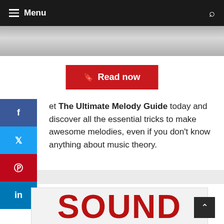≡ Menu
[Figure (photo): Partial product image strip showing music/melody guide book covers]
[Figure (other): Red 'Read now' button with bookmark icon]
et The Ultimate Melody Guide today and discover all the essential tricks to make awesome melodies, even if you don't know anything about music theory.
[Figure (other): Grey separator strip]
[Figure (photo): Large bold red text reading SOUND on white background]
[Figure (other): Back to top arrow button]